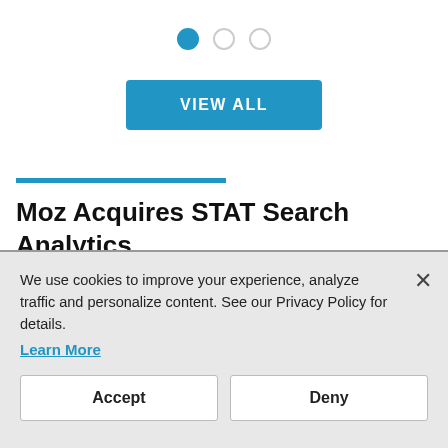[Figure (other): Carousel navigation dots: one filled blue circle and two empty/outline circles]
[Figure (other): Blue 'VIEW ALL' button]
[Figure (other): Blue horizontal separator line]
Moz Acquires STAT Search Analytics
Search engine optimization provider Moz has acquired STAT Search Analytics. Moz CEO Sarah Bird said in a blog post the acquisition will combine Moz's SEO
We use cookies to improve your experience, analyze traffic and personalize content. See our Privacy Policy for details.
Learn More
Accept  Deny